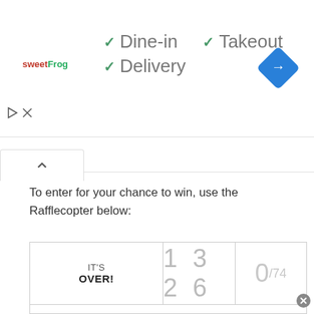[Figure (logo): sweetFrog logo in red and green text]
✓ Dine-in
✓ Takeout
✓ Delivery
[Figure (other): Blue diamond navigation/directions icon]
To enter for your chance to win, use the Rafflecopter below:
[Figure (other): Rafflecopter giveaway widget showing IT'S OVER!, entry count 1326, 0/74, Holiday Happiness Prize Pack title, and And the winner is... line]